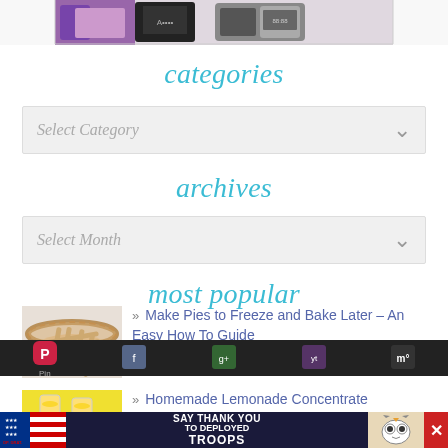[Figure (photo): Partial image of kitchen appliances and purple items at the top of the page]
categories
Select Category
archives
Select Month
most popular
[Figure (photo): Thumbnail image of an unbaked lattice pie crust]
» Make Pies to Freeze and Bake Later – An Easy How To Guide
[Figure (photo): Thumbnail image of lemonade in glasses]
» Homemade Lemonade Concentrate
[Figure (photo): Advertisement banner: Operation Gratitude – Say Thank You To Deployed Troops]